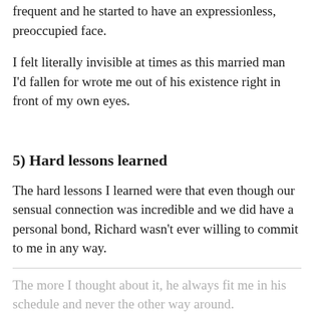frequent and he started to have an expressionless, preoccupied face.
I felt literally invisible at times as this married man I'd fallen for wrote me out of his existence right in front of my own eyes.
5) Hard lessons learned
The hard lessons I learned were that even though our sensual connection was incredible and we did have a personal bond, Richard wasn't ever willing to commit to me in any way.
The more I thought about it, he always fit me in his schedule and never the other way around.